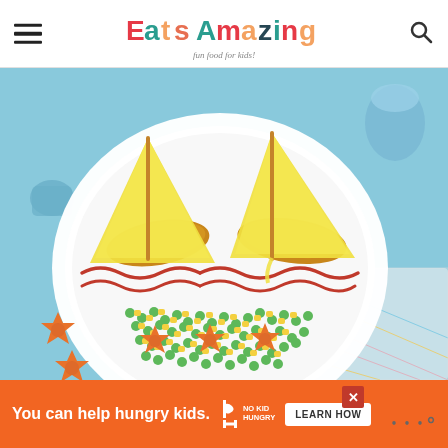Eats Amazing - Fun food for kids!
[Figure (photo): A white plate decorated to look like a sailboat scene. Fish fingers or chicken goujons form the hull of the boat, with slices of yellow cheese cut into triangular sails held up by pretzel sticks. Red sauce (ketchup) is squeezed in wavy lines to represent water/waves on the plate. The bottom of the plate has peas and sweetcorn mixed together, with orange star-shaped carrot pieces arranged on top. Two additional orange star-shaped carrot pieces are placed outside the plate on a blue tablecloth. A colorful patterned napkin is partially visible under the plate. A blue glass is in the background.]
[Figure (infographic): Orange advertisement banner at the bottom of the page. Text reads 'You can help hungry kids.' with a No Kid Hungry fork logo and a 'LEARN HOW' button. A close (X) button appears in the upper right of the banner. A brand watermark with dots appears to the right.]